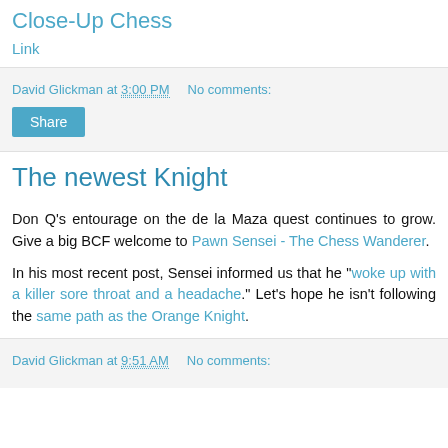Close-Up Chess
Link
David Glickman at 3:00 PM   No comments:
Share
The newest Knight
Don Q's entourage on the de la Maza quest continues to grow. Give a big BCF welcome to Pawn Sensei - The Chess Wanderer.
In his most recent post, Sensei informed us that he "woke up with a killer sore throat and a headache." Let's hope he isn't following the same path as the Orange Knight.
David Glickman at 9:51 AM   No comments: